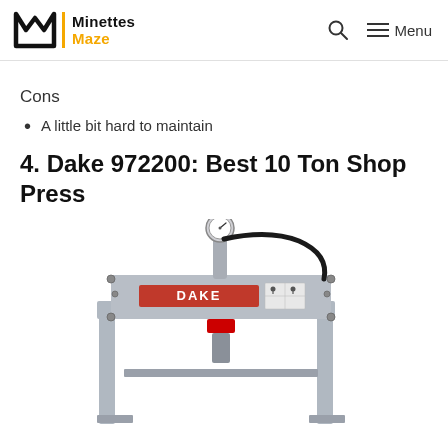Minettes Maze
Cons
A little bit hard to maintain
4. Dake 972200: Best 10 Ton Shop Press
[Figure (photo): Photo of a Dake 972200 10-ton shop press — a grey floor-standing hydraulic press with a pressure gauge on top, DAKE branded front plate, black hydraulic hose, and vertical column frame with a cylinder ram at the bottom.]